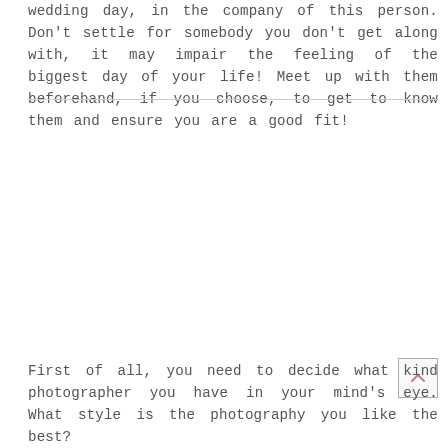wedding day, in the company of this person. Don't settle for somebody you don't get along with, it may impair the feeling of the biggest day of your life! Meet up with them beforehand, if you choose, to get to know them and ensure you are a good fit!
First of all, you need to decide what kind photographer you have in your mind's eye. What style is the photography you like the best?